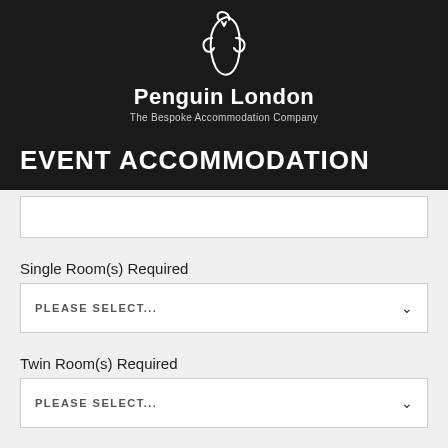[Figure (logo): Penguin London logo — white stylized penguin illustration on dark background]
Penguin London
The Bespoke Accommodation Company
EVENT ACCOMMODATION
Single Room(s) Required
PLEASE SELECT...
Twin Room(s) Required
PLEASE SELECT...
Double Room(s) Required